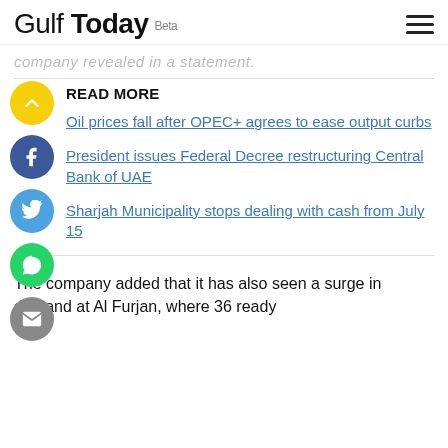Gulf Today Beta
company revealed in a statement.
READ MORE
Oil prices fall after OPEC+ agrees to ease output curbs
President issues Federal Decree restructuring Central Bank of UAE
Sharjah Municipality stops dealing with cash from July 15
The company added that it has also seen a surge in demand at Al Furjan, where 36 ready